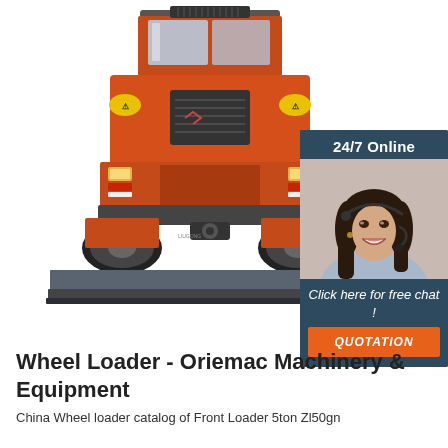[Figure (photo): Front view of an orange/red wheel loader (front-end loader) with a wide gray bucket blade attachment at the bottom. The machine is photographed against a white background.]
[Figure (infographic): 24/7 Online chat widget with a dark blue-gray background, a photo of a smiling woman with a headset, italic text 'Click here for free chat!' and an orange QUOTATION button.]
Wheel Loader - Oriemac Machinery & Equipment
China Wheel loader catalog of Front Loader 5ton Zl50gn